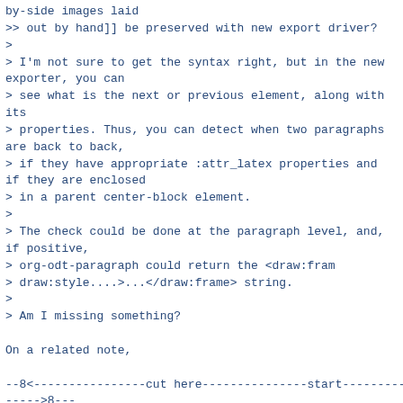by-side images laid
>> out by hand]] be preserved with new export driver?
>
> I'm not sure to get the syntax right, but in the new exporter, you can
> see what is the next or previous element, along with its
> properties. Thus, you can detect when two paragraphs are back to back,
> if they have appropriate :attr_latex properties and if they are enclosed
> in a parent center-block element.
>
> The check could be done at the paragraph level, and, if positive,
> org-odt-paragraph could return the <draw:fram
> draw:style....>...</draw:frame> string.
>
> Am I missing something?
On a related note,
--8<----------------cut here---------------start----------
----->8---
* Example
This
is
a
single
# para_correct